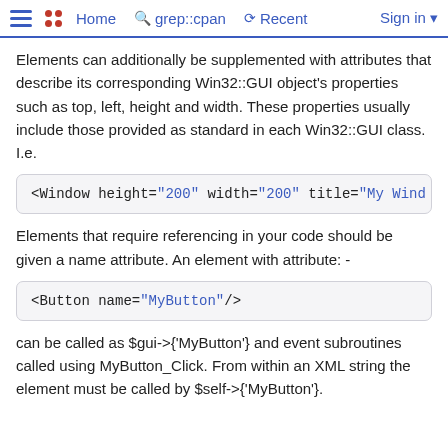Home  grep::cpan  Recent  Sign in
Elements can additionally be supplemented with attributes that describe its corresponding Win32::GUI object's properties such as top, left, height and width. These properties usually include those provided as standard in each Win32::GUI class. I.e.
Elements that require referencing in your code should be given a name attribute. An element with attribute: -
can be called as $gui->{'MyButton'} and event subroutines called using MyButton_Click. From within an XML string the element must be called by $self->{'MyButton'}.